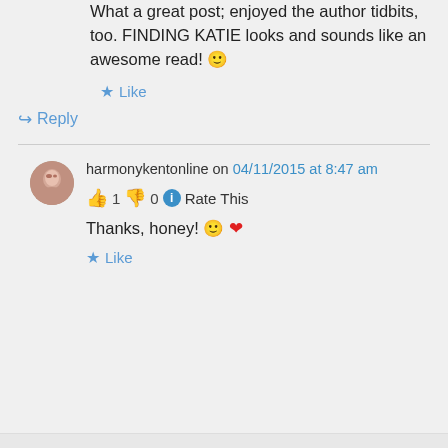What a great post; enjoyed the author tidbits, too. FINDING KATIE looks and sounds like an awesome read! 🙂
★ Like
↳ Reply
harmonykentonline on 04/11/2015 at 8:47 am
👍 1 👎 0 ℹ Rate This
Thanks, honey! 🙂 ❤
★ Like